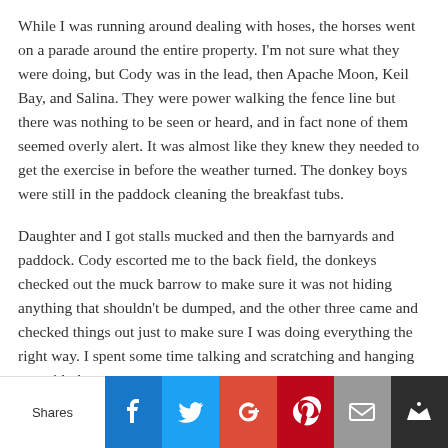While I was running around dealing with hoses, the horses went on a parade around the entire property. I'm not sure what they were doing, but Cody was in the lead, then Apache Moon, Keil Bay, and Salina. They were power walking the fence line but there was nothing to be seen or heard, and in fact none of them seemed overly alert. It was almost like they knew they needed to get the exercise in before the weather turned. The donkey boys were still in the paddock cleaning the breakfast tubs.
Daughter and I got stalls mucked and then the barnyards and paddock. Cody escorted me to the back field, the donkeys checked out the muck barrow to make sure it was not hiding anything that shouldn't be dumped, and the other three came and checked things out just to make sure I was doing everything the right way. I spent some time talking and scratching and hanging out with them.
I realized I probably needed to add bags of pine pellets to each stall - of course they were in the garage so I went and loaded them in the truck. One good thing about the cold last night is that the
Shares | Facebook | Twitter | Google+ | Pinterest | Email | Crown